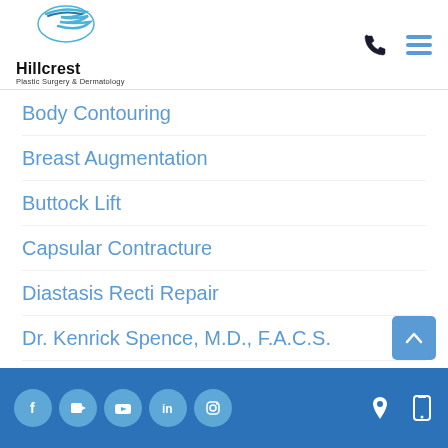[Figure (logo): Hillcrest Plastic Surgery & Dermatology logo with blue swoosh bird graphic]
Body Contouring
Breast Augmentation
Buttock Lift
Capsular Contracture
Diastasis Recti Repair
Dr. Kenrick Spence, M.D., F.A.C.S.
Facelift
Facial Rejuvenation
Social icons: Facebook, video, YouTube, LinkedIn, Instagram | Location and mobile icons